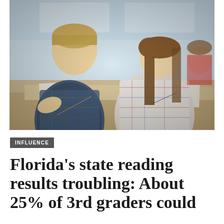[Figure (photo): Students sitting at desks in a classroom, writing. A boy in a plaid shirt is visible on the left, and a girl with long brown hair is writing on the right. Other students are visible in the background.]
INFLUENCE
Florida's state reading results troubling: About 25% of 3rd graders could